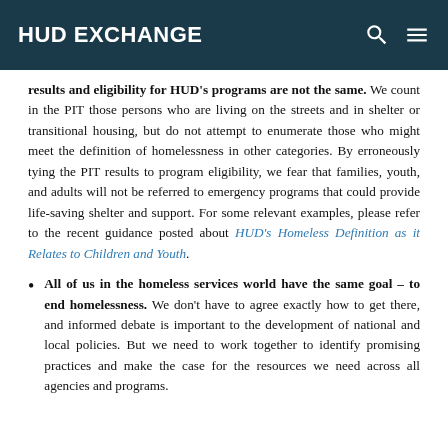HUD EXCHANGE
results and eligibility for HUD's programs are not the same. We count in the PIT those persons who are living on the streets and in shelter or transitional housing, but do not attempt to enumerate those who might meet the definition of homelessness in other categories. By erroneously tying the PIT results to program eligibility, we fear that families, youth, and adults will not be referred to emergency programs that could provide life-saving shelter and support. For some relevant examples, please refer to the recent guidance posted about HUD's Homeless Definition as it Relates to Children and Youth.
All of us in the homeless services world have the same goal – to end homelessness. We don't have to agree exactly how to get there, and informed debate is important to the development of national and local policies. But we need to work together to identify promising practices and make the case for the resources we need across all agencies and programs.